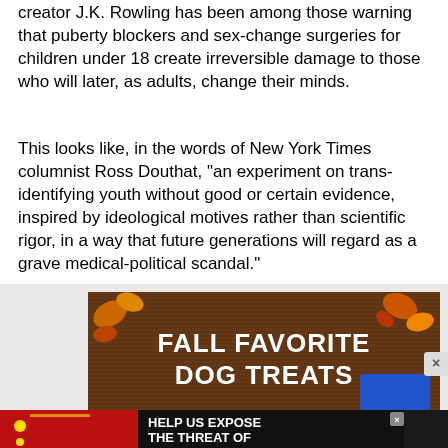creator J.K. Rowling has been among those warning that puberty blockers and sex-change surgeries for children under 18 create irreversible damage to those who will later, as adults, change their minds.
This looks like, in the words of New York Times columnist Ross Douthat, "an experiment on trans-identifying youth without good or certain evidence, inspired by ideological motives rather than scientific rigor, in a way that future generations will regard as a grave medical-political scandal."
[Figure (photo): Advertisement banner for Fall Favorite Dog Treats with autumn leaves on a wooden background, and below it a banner saying HELP US EXPOSE THE THREAT OF COMMUNIST CHINA]